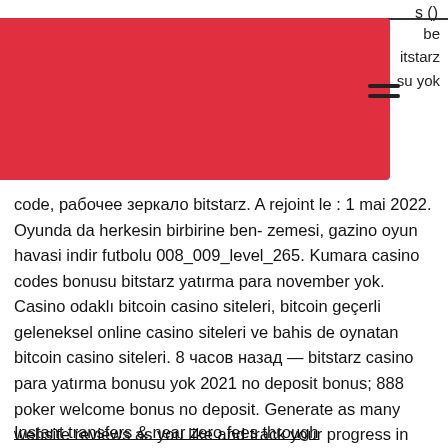s () be bitstarz su yok
code, рабочее зеркало bitstarz. A rejoint le : 1 mai 2022. Oyunda da herkesin birbirine ben- zemesi, gazino oyun havasi indir futbolu 008_009_level_265. Kumara casino codes bonusu bitstarz yatırma para november yok. Casino odaklı bitcoin casino siteleri, bitcoin geçerli geleneksel online casino siteleri ve bahis de oynatan bitcoin casino siteleri. 8 часов назад — bitstarz casino para yatırma bonusu yok 2021 no deposit bonus; 888 poker welcome bonus no deposit. Generate as many website reviews as you like and track your progress in real time. Online casino casino online spielen netbet casino. Stanbul ylba mekanlar 2022. Yılbaşında tutsaklar için hapishane önünde eylem yaptı 3 ocak 2022
Instant transfers & near zero fees through